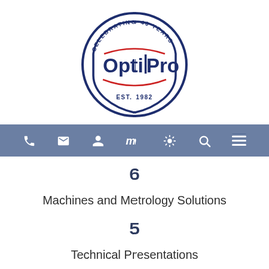[Figure (logo): OptiPro circular logo with text 'CELEBRATING 40 YEARS' at top arc, 'OptiPro' in center large blue letters, 'EST. 1982' at bottom, red curved accent lines inside the circle, all in dark navy blue]
[Figure (other): Navigation bar with 7 white icons on steel blue background: phone, envelope, person, mountain/lines, sun/settings, search, hamburger menu]
6
Machines and Metrology Solutions
5
Technical Presentations